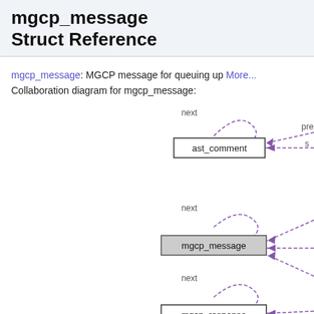mgcp_message Struct Reference
mgcp_message: MGCP message for queuing up More...
Collaboration diagram for mgcp_message:
[Figure (other): Collaboration diagram showing mgcp_message struct relationships. Three nodes visible: ast_comment (top, with self-referencing 'next' arrow and incoming dashed arrow labeled 'pre' and 's' from right), mgcp_message (middle, highlighted gray, with self-referencing 'next' arrow and incoming dashed arrows from right), and mgcp_response (bottom, with self-referencing 'next' arrow and incoming dashed arrow from right).]